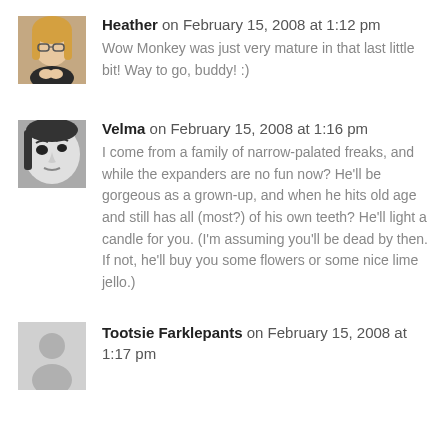[Figure (photo): Avatar photo of Heather, a woman with blonde hair and glasses]
Heather on February 15, 2008 at 1:12 pm
Wow Monkey was just very mature in that last little bit! Way to go, buddy! :)
[Figure (photo): Avatar photo of Velma, close-up black and white face]
Velma on February 15, 2008 at 1:16 pm
I come from a family of narrow-palated freaks, and while the expanders are no fun now? He'll be gorgeous as a grown-up, and when he hits old age and still has all (most?) of his own teeth? He'll light a candle for you. (I'm assuming you'll be dead by then. If not, he'll buy you some flowers or some nice lime jello.)
[Figure (illustration): Default grey silhouette avatar for Tootsie Farklepants]
Tootsie Farklepants on February 15, 2008 at 1:17 pm